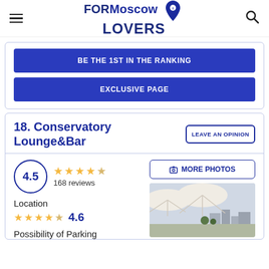FORMoscow LOVERS
BE THE 1ST IN THE RANKING
EXCLUSIVE PAGE
18. Conservatory Lounge&Bar
4.5 ★★★★☆ 168 reviews
[Figure (photo): Outdoor rooftop bar area with large white umbrellas and city skyline view]
Location
★★★★☆ 4.6
Possibility of Parking